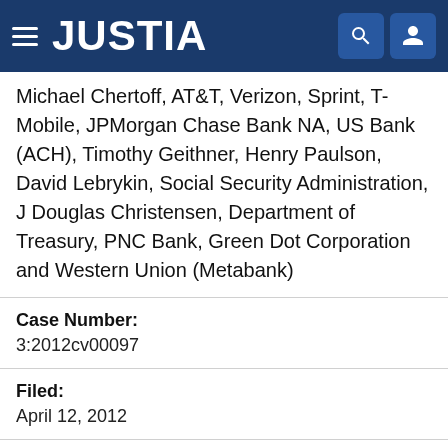JUSTIA
Michael Chertoff, AT&T, Verizon, Sprint, T-Mobile, JPMorgan Chase Bank NA, US Bank (ACH), Timothy Geithner, Henry Paulson, David Lebrykin, Social Security Administration, J Douglas Christensen, Department of Treasury, PNC Bank, Green Dot Corporation and Western Union (Metabank)
Case Number:
3:2012cv00097
Filed:
April 12, 2012
Court:
US District Court for the Eastern District of Arkansas
Office:
Jonesboro Office